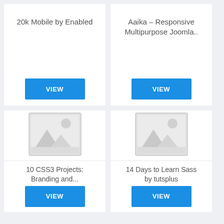20k Mobile by Enabled
Aaika – Responsive Multipurpose Joomla..
[Figure (illustration): Placeholder image icon with mountain and sun outline for 10 CSS3 Projects]
10 CSS3 Projects: Branding and...
[Figure (illustration): Placeholder image icon with mountain and sun outline for 14 Days to Learn Sass]
14 Days to Learn Sass by tutsplus